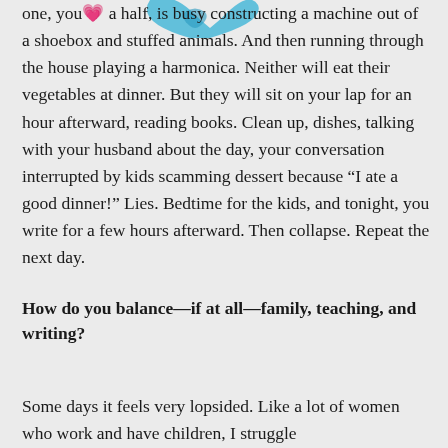[Figure (illustration): Partial blue heart or bird illustration at top center, partially cropped]
one, your [image], a half, is busy constructing a machine out of a shoebox and stuffed animals. And then running through the house playing a harmonica. Neither will eat their vegetables at dinner. But they will sit on your lap for an hour afterward, reading books. Clean up, dishes, talking with your husband about the day, your conversation interrupted by kids scamming dessert because “I ate a good dinner!” Lies. Bedtime for the kids, and tonight, you write for a few hours afterward. Then collapse. Repeat the next day.
How do you balance—if at all—family, teaching, and writing?
Some days it feels very lopsided. Like a lot of women who work and have children, I struggle